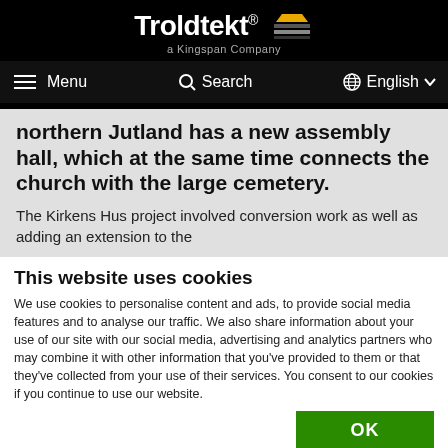Troldtekt® a Kingspan Company — Menu | Search | English
northern Jutland has a new assembly hall, which at the same time connects the church with the large cemetery.
The Kirkens Hus project involved conversion work as well as adding an extension to the
This website uses cookies
We use cookies to personalise content and ads, to provide social media features and to analyse our traffic. We also share information about your use of our site with our social media, advertising and analytics partners who may combine it with other information that you've provided to them or that they've collected from your use of their services. You consent to our cookies if you continue to use our website.
OK
Necessary | Preferences | Statistics | Marketing | Show details